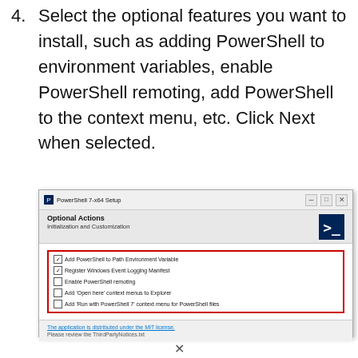4. Select the optional features you want to install, such as adding PowerShell to environment variables, enable PowerShell remoting, add PowerShell to the context menu, etc. Click Next when selected.
[Figure (screenshot): PowerShell 7-x64 Setup dialog showing Optional Actions / Initialization and Customization screen with checkboxes: Add PowerShell to Path Environment Variable (checked), Register Windows Event Logging Manifest (checked), Enable PowerShell remoting (unchecked), Add 'Open here' context menus to Explorer (unchecked), Add 'Run with PowerShell 7' context menu for PowerShell files (unchecked). The checkbox group is highlighted with a red border. Footer shows MIT license link and ThirdPartyNotices.txt reference.]